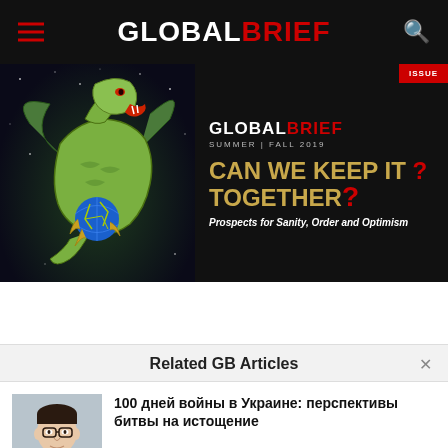GLOBAL BRIEF
[Figure (illustration): Global Brief Summer/Fall 2019 magazine cover banner featuring a dragon holding a globe, with headline 'CAN WE KEEP IT TOGETHER? Prospects for Sanity, Order and Optimism']
Related GB Articles
100 дней войны в Украине: перспективы битвы на истощение